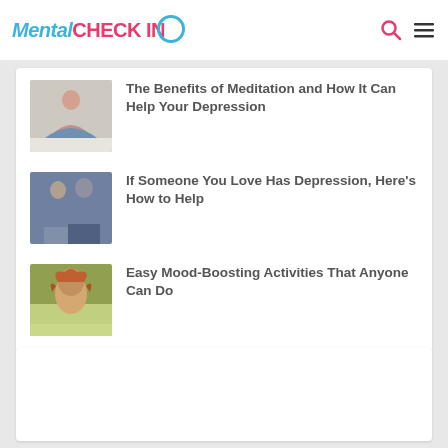Mental CHECK IN
[Figure (photo): Person meditating in lotus position on a couch]
The Benefits of Meditation and How It Can Help Your Depression
[Figure (photo): Two men sitting together, one supporting the other]
If Someone You Love Has Depression, Here's How to Help
[Figure (photo): Smiling woman with red hair outdoors]
Easy Mood-Boosting Activities That Anyone Can Do